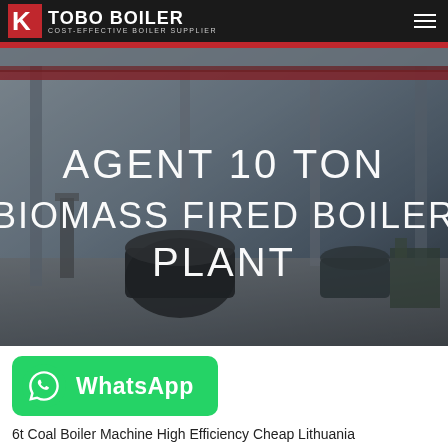TOBO BOILER — COST-EFFECTIVE BOILER SUPPLIER
[Figure (photo): Industrial boiler manufacturing facility interior with large boiler equipment, overhead cranes, and factory structure. Text overlay: AGENT 10 TON BIOMASS FIRED BOILER PLANT]
AGENT 10 TON BIOMASS FIRED BOILER PLANT
[Figure (logo): WhatsApp button — green rounded rectangle with WhatsApp icon and text 'WhatsApp']
6t Coal Boiler Machine High Efficiency Cheap Lithuania